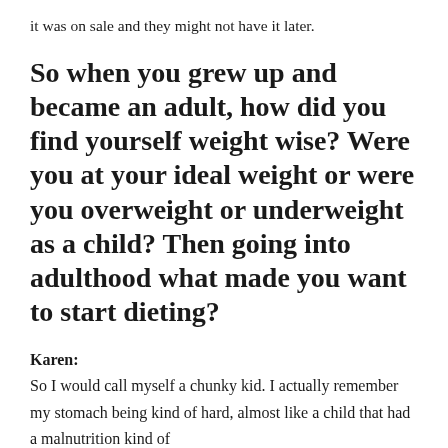it was on sale and they might not have it later.
So when you grew up and became an adult, how did you find yourself weight wise? Were you at your ideal weight or were you overweight or underweight as a child? Then going into adulthood what made you want to start dieting?
Karen:
So I would call myself a chunky kid. I actually remember my stomach being kind of hard, almost like a child that had a malnutrition kind of stomach. That's what I remember as a...